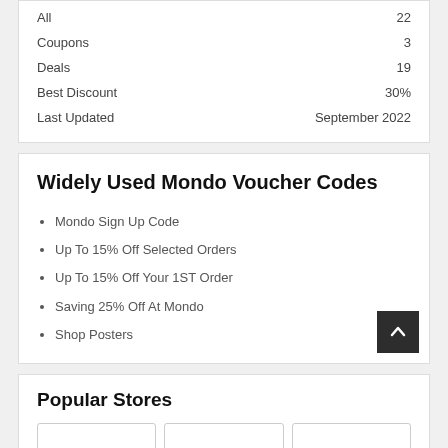|  |  |
| --- | --- |
| All | 22 |
| Coupons | 3 |
| Deals | 19 |
| Best Discount | 30% |
| Last Updated | September 2022 |
Widely Used Mondo Voucher Codes
Mondo Sign Up Code
Up To 15% Off Selected Orders
Up To 15% Off Your 1ST Order
Saving 25% Off At Mondo
Shop Posters
Popular Stores